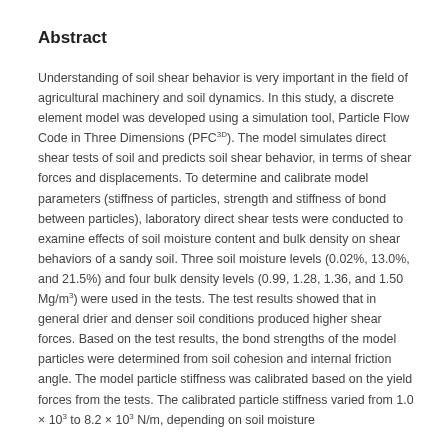Abstract
Understanding of soil shear behavior is very important in the field of agricultural machinery and soil dynamics. In this study, a discrete element model was developed using a simulation tool, Particle Flow Code in Three Dimensions (PFC3D). The model simulates direct shear tests of soil and predicts soil shear behavior, in terms of shear forces and displacements. To determine and calibrate model parameters (stiffness of particles, strength and stiffness of bond between particles), laboratory direct shear tests were conducted to examine effects of soil moisture content and bulk density on shear behaviors of a sandy soil. Three soil moisture levels (0.02%, 13.0%, and 21.5%) and four bulk density levels (0.99, 1.28, 1.36, and 1.50 Mg/m3) were used in the tests. The test results showed that in general drier and denser soil conditions produced higher shear forces. Based on the test results, the bond strengths of the model particles were determined from soil cohesion and internal friction angle. The model particle stiffness was calibrated based on the yield forces from the tests. The calibrated particle stiffness varied from 1.0 × 10³ to 8.2 × 10³ N/m, depending on soil moisture